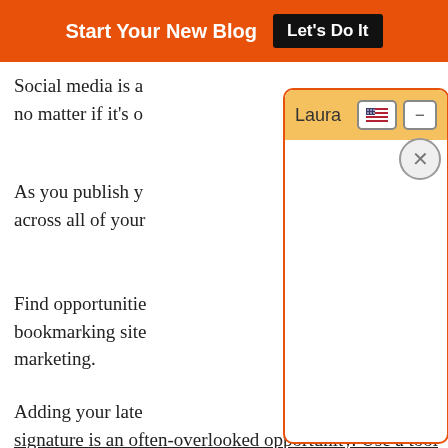Start Your New Blog  Let's Do It
Social media is a... no matter if it's o...
As you publish y... across all of your...
Find opportunitie... bookmarking site... marketing.
Adding your late... signature is an often-overlooked opportunity. Use a tool such as WigStamp to automatically add this information to every email
[Figure (screenshot): A chat popup widget with orange border and yellow header labeled 'Laura', with flag and minimize icons, and an X close button. The popup overlays the main article content. At the bottom right is 'Powered By Steady Stream Leads' text.]